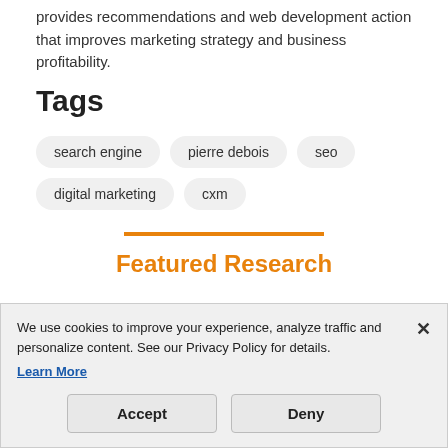provides recommendations and web development action that improves marketing strategy and business profitability.
Tags
search engine
pierre debois
seo
digital marketing
cxm
Featured Research
We use cookies to improve your experience, analyze traffic and personalize content. See our Privacy Policy for details. Learn More
Accept
Deny